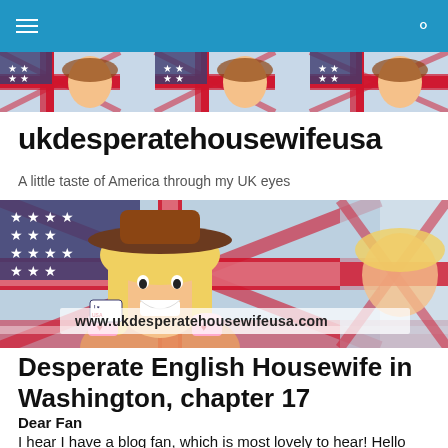ukdesperatehousewifeusa — navigation bar
[Figure (illustration): Repeating banner strip showing illustrated blonde woman with cowboy hat in front of a Union Jack/US flag motif, tiled horizontally]
ukdesperatehousewifeusa
A little taste of America through my UK eyes
[Figure (illustration): Logo illustration: blonde woman with cowboy hat holding teacups in front of Union Jack/US flag, with URL www.ukdesperatehousewifeusa.com overlaid, tiled horizontally]
Desperate English Housewife in Washington, chapter 17
Dear Fan
I hear I have a blog fan, which is most lovely to hear! Hello